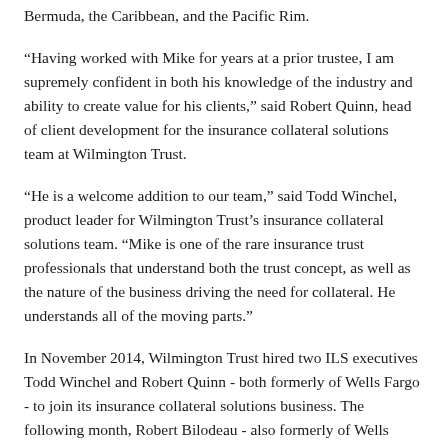Bermuda, the Caribbean, and the Pacific Rim.
“Having worked with Mike for years at a prior trustee, I am supremely confident in both his knowledge of the industry and ability to create value for his clients,” said Robert Quinn, head of client development for the insurance collateral solutions team at Wilmington Trust.
“He is a welcome addition to our team,” said Todd Winchel, product leader for Wilmington Trust’s insurance collateral solutions team. “Mike is one of the rare insurance trust professionals that understand both the trust concept, as well as the nature of the business driving the need for collateral. He understands all of the moving parts.”
In November 2014, Wilmington Trust hired two ILS executives Todd Winchel and Robert Quinn - both formerly of Wells Fargo - to join its insurance collateral solutions business. The following month, Robert Bilodeau - also formerly of Wells Fargo, joined as senior relationship manager.